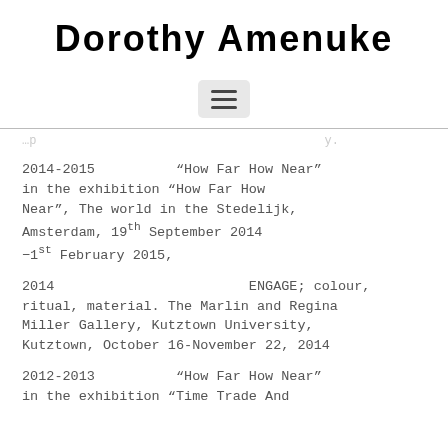Dorothy Amenuke
[Figure (other): Hamburger menu button icon with three horizontal lines on a light gray rounded rectangle background]
2014-2015      “How Far How Near” in the exhibition “How Far How Near”, The world in the Stedelijk, Amsterdam, 19th September 2014 -1st February 2015,
2014                        ENGAGE; colour, ritual, material. The Marlin and Regina Miller Gallery, Kutztown University, Kutztown, October 16-November 22, 2014
2012-2013      “How Far How Near” in the exhibition “Time Trade And